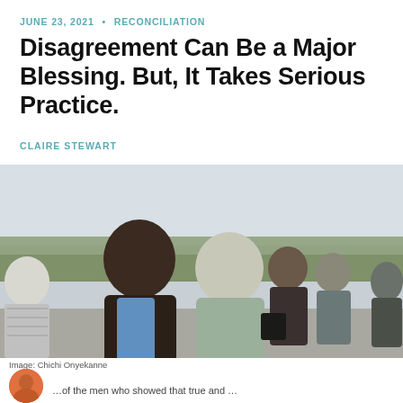JUNE 23, 2021 · RECONCILIATION
Disagreement Can Be a Major Blessing. But, It Takes Serious Practice.
CLAIRE STEWART
[Figure (photo): Group of men standing outdoors with heads bowed, appearing to be in prayer. They are on a paved area with green park landscape in the background.]
Image: Chichi Onyekanne
[Figure (photo): Circular avatar/portrait photo of article author, partially visible at bottom left of page.]